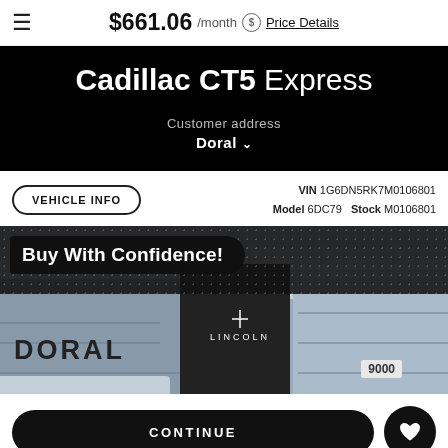$661.06 /month Price Details
Cadillac CT5 Express
Customer address
Doral
VEHICLE INFO   VIN 1G6DN5RK7M0106801   Model 6DC79   Stock M0106801
[Figure (photo): Dealer storefront photo showing 'Buy With Confidence!' banner, DORAL sign, LINCOLN signage, and building number 9000]
CONTINUE